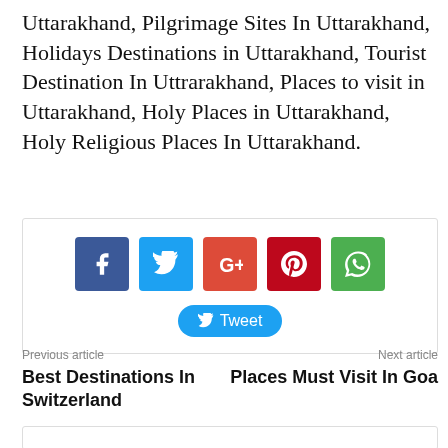Uttarakhand, Pilgrimage Sites In Uttarakhand, Holidays Destinations in Uttarakhand, Tourist Destination In Uttrarakhand, Places to visit in Uttarakhand, Holy Places in Uttarakhand, Holy Religious Places In Uttarakhand.
[Figure (infographic): Social share buttons: Facebook (blue), Twitter (light blue), Google+ (red-orange), Pinterest (dark red), WhatsApp (green), and a Tweet button below.]
Previous article
Next article
Best Destinations In Switzerland
Places Must Visit In Goa